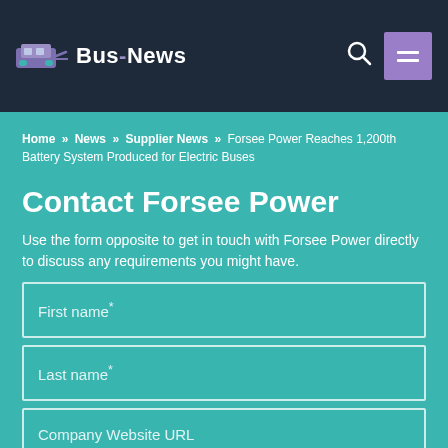Bus-News
Home » News » Supplier News » Forsee Power Reaches 1,200th Battery System Produced for Electric Buses
Contact Forsee Power
Use the form opposite to get in touch with Forsee Power directly to discuss any requirements you might have.
First name*
Last name*
Company Website URL